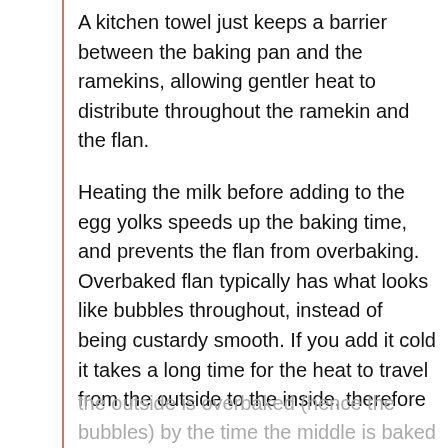A kitchen towel just keeps a barrier between the baking pan and the ramekins, allowing gentler heat to distribute throughout the ramekin and the flan.
Heating the milk before adding to the egg yolks speeds up the baking time, and prevents the flan from overbaking. Overbaked flan typically has what looks like bubbles throughout, instead of being custardy smooth. If you add it cold it takes a long time for the heat to travel from the outside to the inside, therefore the outside is overbaked (hence the bubbles) by the time the middle is baked